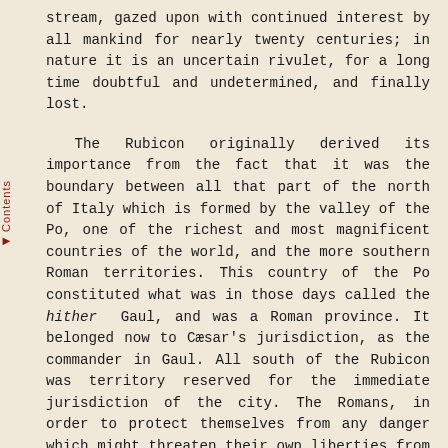stream, gazed upon with continued interest by all mankind for nearly twenty centuries; in nature it is an uncertain rivulet, for a long time doubtful and undetermined, and finally lost.
The Rubicon originally derived its importance from the fact that it was the boundary between all that part of the north of Italy which is formed by the valley of the Po, one of the richest and most magnificent countries of the world, and the more southern Roman territories. This country of the Po constituted what was in those days called the hither Gaul, and was a Roman province. It belonged now to Cæsar's jurisdiction, as the commander in Gaul. All south of the Rubicon was territory reserved for the immediate jurisdiction of the city. The Romans, in order to protect themselves from any danger which might threaten their own liberties from the immense armies which they raised for the conquest of foreign nations, had imposed on every side very strict limitations and restrictions in respect to the approach of those